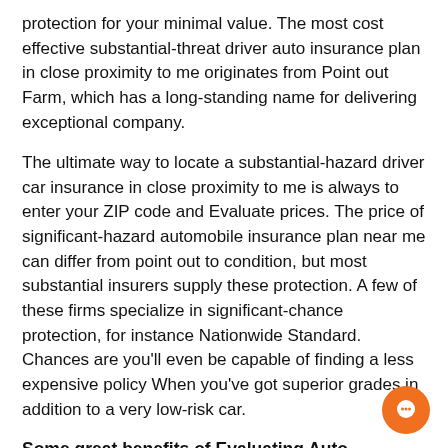protection for your minimal value. The most cost effective substantial-threat driver auto insurance plan in close proximity to me originates from Point out Farm, which has a long-standing name for delivering exceptional company.
The ultimate way to locate a substantial-hazard driver car insurance in close proximity to me is always to enter your ZIP code and Evaluate prices. The price of significant-hazard automobile insurance plan near me can differ from point out to condition, but most substantial insurers supply these protection. A few of these firms specialize in significant-chance protection, for instance Nationwide Standard. Chances are you'll even be capable of finding a less expensive policy When you've got superior grades in addition to a very low-risk car.
Some great benefits of Evaluating Auto Insurance plan Companies
There are many advantages of evaluating automobile insurance plan firms. In this article, We're going to go over